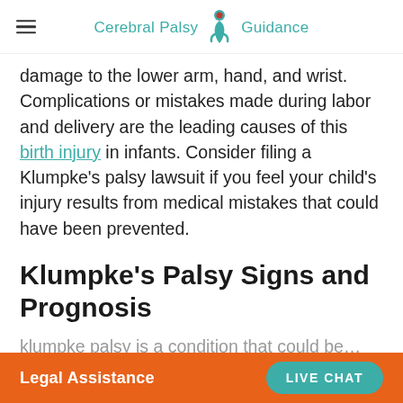Cerebral Palsy Guidance
damage to the lower arm, hand, and wrist. Complications or mistakes made during labor and delivery are the leading causes of this birth injury in infants. Consider filing a Klumpke’s palsy lawsuit if you feel your child’s injury results from medical mistakes that could have been prevented.
Klumpke’s Palsy Signs and Prognosis
Legal Assistance  LIVE CHAT